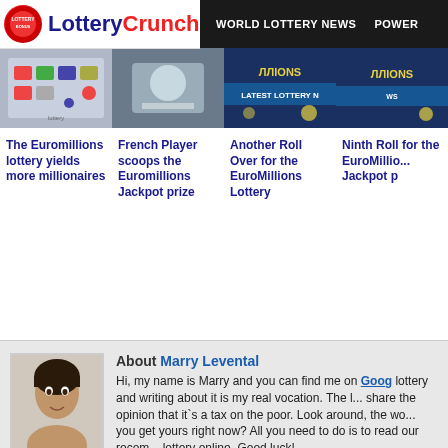LotteryCrunch | WORLD LOTTERY NEWS | POWER...
[Figure (photo): Lottery ticket/numbers image - card 1]
The Euromillions lottery yields more millionaires
[Figure (photo): Lottery related image - card 2]
French Player scoops the Euromillions Jackpot prize
[Figure (photo): EuroMillions lottery news image - card 3]
Another Roll Over for the EuroMillions Lottery
[Figure (photo): EuroMillions millions banner image - card 4]
Ninth Roll for the EuroMillions Jackpot p...
[Figure (photo): Author photo of Marry Levental]
About Marry Levental
Hi, my name is Marry and you can find me on Goog... lottery and writing about it is my real vocation. The l... share the opinion that it`s a tax on the poor. Look around, the wo... you get yours right now? All you need to do is to read our recom... lottery online. Good luck!